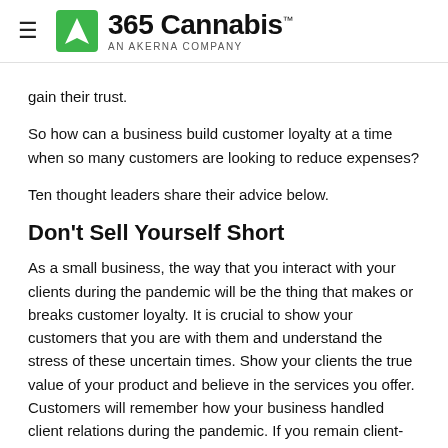365 Cannabis — AN AKERNA COMPANY
gain their trust.
So how can a business build customer loyalty at a time when so many customers are looking to reduce expenses?
Ten thought leaders share their advice below.
Don't Sell Yourself Short
As a small business, the way that you interact with your clients during the pandemic will be the thing that makes or breaks customer loyalty. It is crucial to show your customers that you are with them and understand the stress of these uncertain times. Show your clients the true value of your product and believe in the services you offer. Customers will remember how your business handled client relations during the pandemic. If you remain client-focused, you will retain long-term customer loyalty.